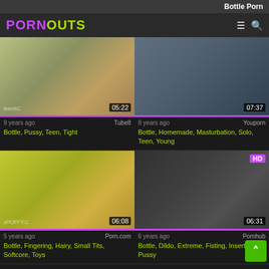Bottle Porn
PORNOUTS
[Figure (screenshot): Video thumbnail 1, duration 05:22, watermark teen6C]
9 years ago    Tube8
Bottle, Pussy, Teen, Tight
[Figure (screenshot): Video thumbnail 2, duration 07:37]
8 years ago    Youporn
Bottle, Homemade, Masturbation, Solo, Teen, Young
[Figure (screenshot): Video thumbnail 3, duration 06:08, watermark xPUFFY.C]
5 years ago    Porn.com
Bottle, Fingering, Hairy, Small Tits, Softcore, Toys
[Figure (screenshot): Video thumbnail 4, duration 06:31, HD badge]
6 years ago    Pornhub
Bottle, Dildo, Extreme, Fisting, Insertion, Pussy